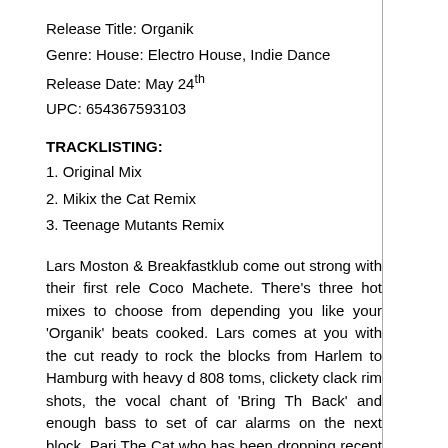Release Title: Organik
Genre: House: Electro House, Indie Dance
Release Date: May 24th
UPC: 654367593103
TRACKLISTING:
1. Original Mix
2. Mikix the Cat Remix
3. Teenage Mutants Remix
Lars Moston & Breakfastklub come out strong with their first rele Coco Machete. There's three hot mixes to choose from depending you like your 'Organik' beats cooked. Lars comes at you with the cut ready to rock the blocks from Harlem to Hamburg with heavy d 808 toms, clickety clack rim shots, the vocal chant of 'Bring Th Back' and enough bass to set of car alarms on the next block. Pari The Cat who has been dropping recent releases on Brooklyn's Tro Bass takes things in a dirtier direction with big rave sounds that jus be the car alarms set off by Lars' original. Finally Hamburg's T Mutants take things in a bit of an old school Chicago house d adding swinging hi hats and bongo loops to round it out for the dancefloors. So for a record called Organik this sure sounds like bang of a 16-bit drum machine attack from the digital world. B